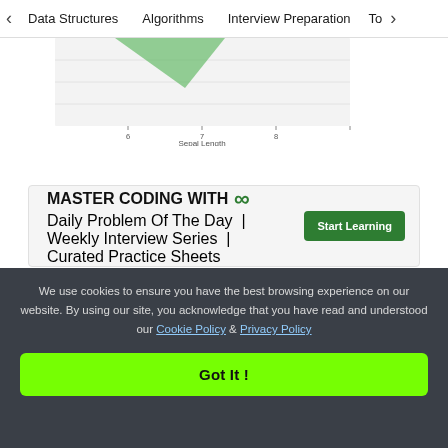< Data Structures   Algorithms   Interview Preparation   To>
[Figure (continuous-plot): Partial scatter/line chart showing data points with a green triangular cluster, x-axis labeled 'Sepal Length' with ticks at 6, 7, 8, y-axis tick visible at 2.0]
[Figure (infographic): GeeksForGeeks advertisement banner: 'MASTER CODING WITH GfG logo' with subtitle 'Daily Problem Of The Day | Weekly Interview Series | Curated Practice Sheets' and a green 'Start Learning' button]
We use cookies to ensure you have the best browsing experience on our website. By using our site, you acknowledge that you have read and understood our Cookie Policy & Privacy Policy
Got It !